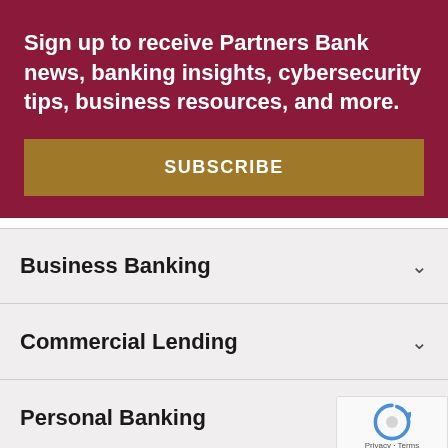Sign up to receive Partners Bank news, banking insights, cybersecurity tips, business resources, and more.
SUBSCRIBE
Business Banking
Commercial Lending
Personal Banking